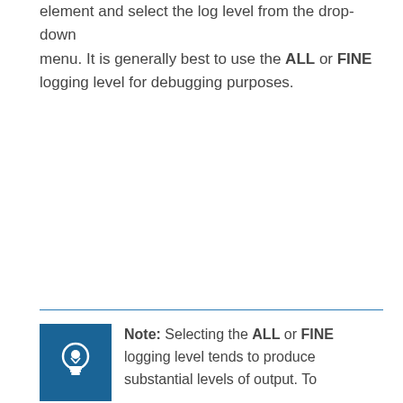element and select the log level from the drop-down menu. It is generally best to use the ALL or FINE logging level for debugging purposes.
Note: Selecting the ALL or FINE logging level tends to produce substantial levels of output. To